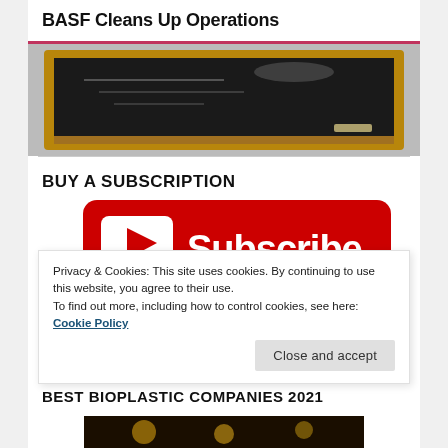BASF Cleans Up Operations
[Figure (photo): Blackboard / chalkboard image partially visible at top of page]
BUY A SUBSCRIPTION
[Figure (screenshot): YouTube red Subscribe button with play icon and 'Subscribe' text]
Privacy & Cookies: This site uses cookies. By continuing to use this website, you agree to their use.
To find out more, including how to control cookies, see here: Cookie Policy
Close and accept
BEST BIOPLASTIC COMPANIES 2021
[Figure (photo): Golden award trophy image, partially visible at bottom of page]